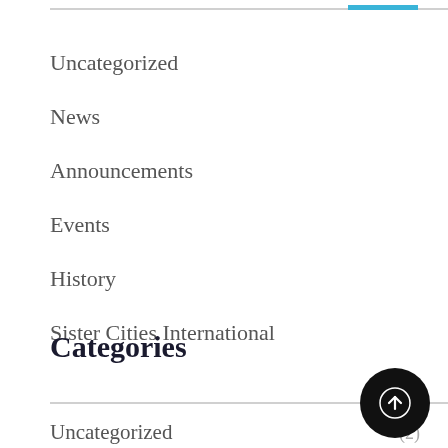Uncategorized
News
Announcements
Events
History
Sister Cities International
Categories
Uncategorized (2)
News
Announcements (22)